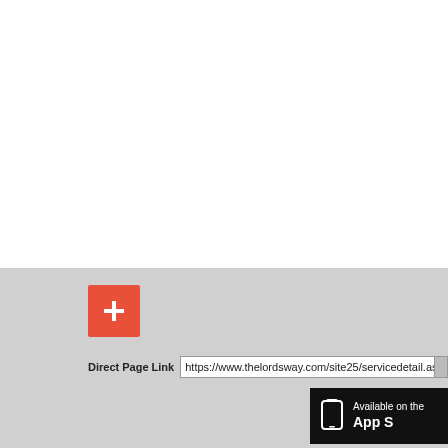[Figure (screenshot): White empty area at top of page, part of a web interface]
[Figure (screenshot): Red plus button (add) icon with white cross on coral/red background]
Direct Page Link  https://www.thelordsway.com/site25/servicedetail.asp
[Figure (screenshot): Available on the App Store badge in black with phone icon]